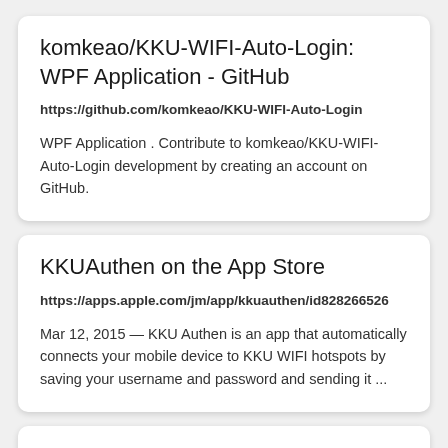komkeao/KKU-WIFI-Auto-Login: WPF Application - GitHub
https://github.com/komkeao/KKU-WIFI-Auto-Login
WPF Application . Contribute to komkeao/KKU-WIFI-Auto-Login development by creating an account on GitHub.
KKUAuthen on the App Store
https://apps.apple.com/jm/app/kkuauthen/id828266526
Mar 12, 2015 — KKU Authen is an app that automatically connects your mobile device to KKU WIFI hotspots by saving your username and password and sending it ...
How to log on to KU Guest